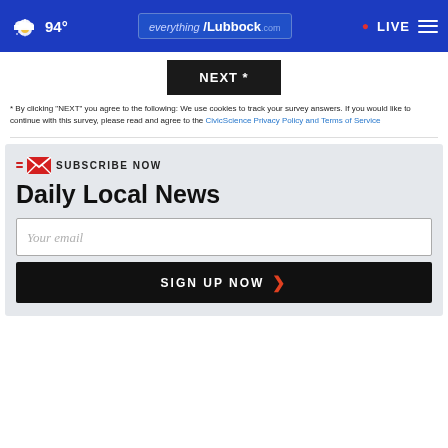94° everything/Lubbock.com • LIVE
[Figure (screenshot): NEXT * button (dark background)]
* By clicking "NEXT" you agree to the following: We use cookies to track your survey answers. If you would like to continue with this survey, please read and agree to the CivicScience Privacy Policy and Terms of Service
[Figure (infographic): Subscribe Now email signup box: Daily Local News, Your email input, SIGN UP NOW button]